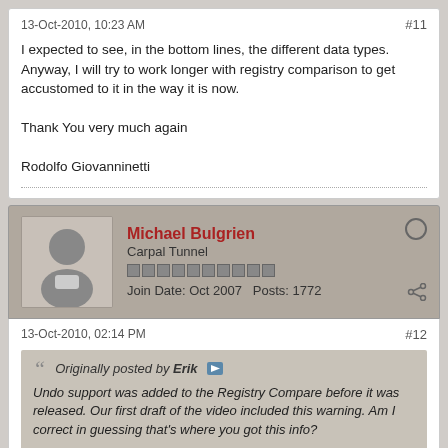13-Oct-2010, 10:23 AM
#11
I expected to see, in the bottom lines, the different data types. Anyway, I will try to work longer with registry comparison to get accustomed to it in the way it is now.

Thank You very much again

Rodolfo Giovanninetti
Michael Bulgrien
Carpal Tunnel
Join Date: Oct 2007   Posts: 1772
13-Oct-2010, 02:14 PM
#12
Originally posted by Erik
Undo support was added to the Registry Compare before it was released. Our first draft of the video included this warning. Am I correct in guessing that's where you got this info?